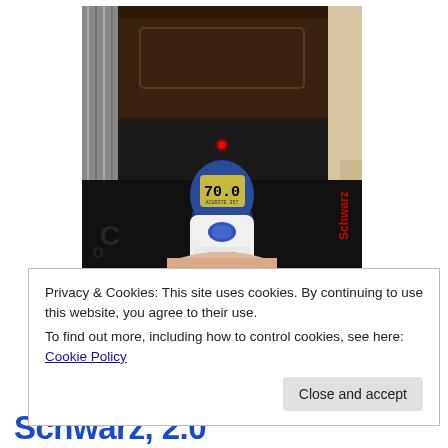[Figure (photo): Photo of a person holding a blue and white infrared thermometer gun pointed at a black motorcycle seat/bag. The thermometer display shows 70.0. There is a red laser dot visible. The background shows a dark storage or garage area with metal racks on the left and a beige wall on the right.]
Privacy & Cookies: This site uses cookies. By continuing to use this website, you agree to their use.
To find out more, including how to control cookies, see here: Cookie Policy
Close and accept
Schwarz, 2.0